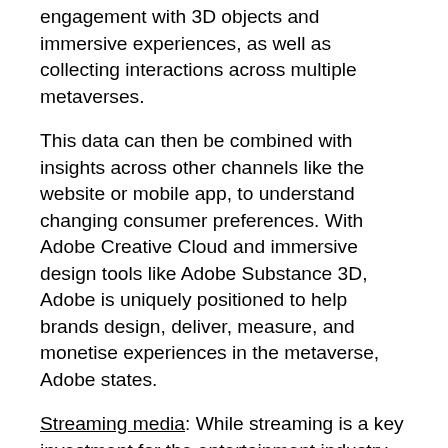engagement with 3D objects and immersive experiences, as well as collecting interactions across multiple metaverses.
This data can then be combined with insights across other channels like the website or mobile app, to understand changing consumer preferences. With Adobe Creative Cloud and immersive design tools like Adobe Substance 3D, Adobe is uniquely positioned to help brands design, deliver, measure, and monetise experiences in the metaverse, Adobe states.
Streaming media: While streaming is a key investment for the entertainment industry, other sectors such as retail and banking continue to prioritise video and audio content. Adobe is introducing new capabilities today for brands to understand how streaming fits into the overall customer journey.